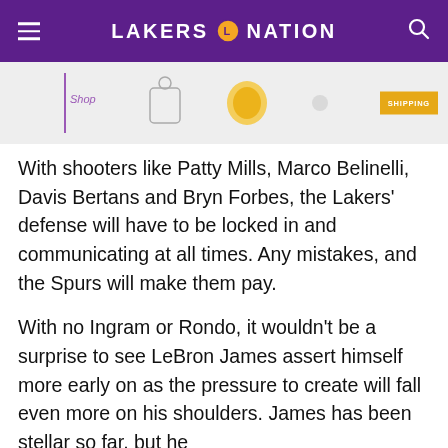LAKERS NATION
[Figure (photo): Partial advertisement banner showing product images and a shipping badge]
With shooters like Patty Mills, Marco Belinelli, Davis Bertans and Bryn Forbes, the Lakers’ defense will have to be locked in and communicating at all times. Any mistakes, and the Spurs will make them pay.
With no Ingram or Rondo, it wouldn’t be a surprise to see LeBron James assert himself more early on as the pressure to create will fall even more on his shoulders. James has been stellar so far, but he